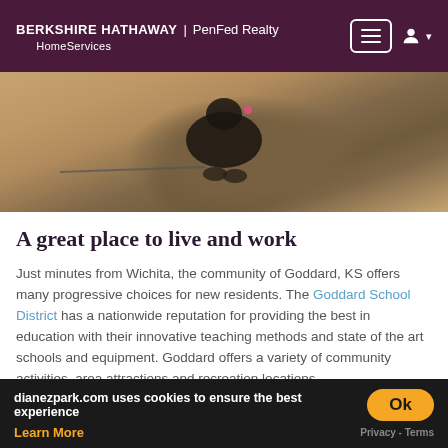BERKSHIRE HATHAWAY | PenFed Realty HomeServices
[Figure (photo): Close-up photo of a bird (duck or similar waterfowl) on a sandy/concrete surface, viewed from above, with a leash visible.]
A great place to live and work
Just minutes from Wichita, the community of Goddard, KS offers many progressive choices for new residents. The Goddard School District has a nationwide reputation for providing the best in education with their innovative teaching methods and state of the art schools and equipment. Goddard offers a variety of community activities, area attractions and recreation locations... voted #1 Best Place for Family by Wichita Family Magazine
dianezpark.com uses cookies to ensure the best experience
Learn More